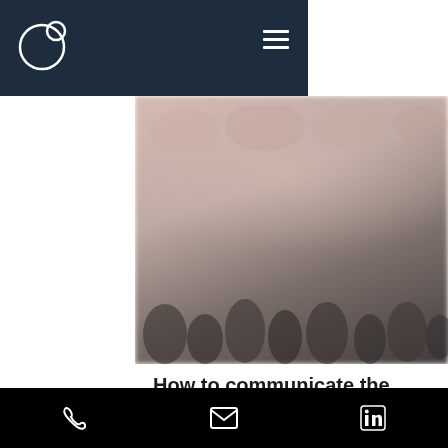Logo + navigation menu (hamburger icon)
[Figure (photo): Blurred photo of a group of people, shown from mid-torso down with dark tones at the bottom]
How to communicate the soul of your brand
Trust is emerging as the newest luxury, something that is much-wanted but in short supply. - Edie Weiner
Phone icon, Email icon, LinkedIn icon